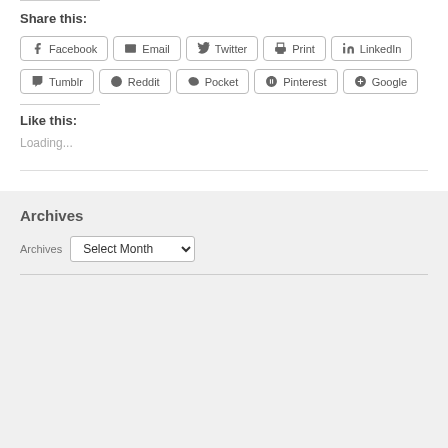Share this:
Facebook | Email | Twitter | Print | LinkedIn | Tumblr | Reddit | Pocket | Pinterest | Google
Like this:
Loading...
Archives
Archives  Select Month